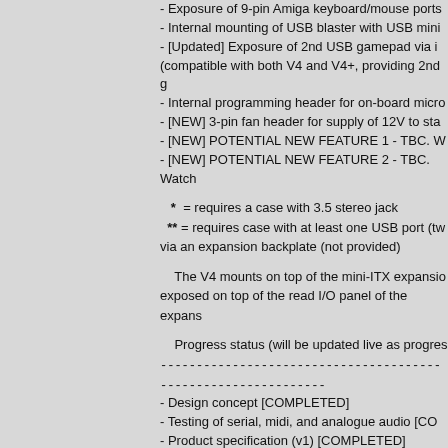- Exposure of 9-pin Amiga keyboard/mouse ports
- Internal mounting of USB blaster with USB mini
- [Updated] Exposure of 2nd USB gamepad via i (compatible with both V4 and V4+, providing 2nd g
- Internal programming header for on-board micro
- [NEW] 3-pin fan header for supply of 12V to sta
- [NEW] POTENTIAL NEW FEATURE 1 - TBC. W
- [NEW] POTENTIAL NEW FEATURE 2 - TBC. Watch
*  = requires a case with 3.5 stereo jack
** = requires case with at least one USB port (tw via an expansion backplate (not provided)
The V4 mounts on top of the mini-ITX expansio exposed on top of the read I/O panel of the expans
Progress status (will be updated live as progres
- Design concept [COMPLETED]
- Testing of serial, midi, and analogue audio [CO
- Product specification (v1) [COMPLETED]
- [UPDATED] Schematic design [COMPLETED]
- Mechanical layout and design [IN PROGRESS
- Production of first PCB prototypes [NOT STAR
- Testing and revision of first PCB prototypes [N
- Programming of microcontroller [NOT STARTE
- Finalise Product specification (V2)[NOT START
- Final revision and testing [NOT STARTED]
- Production of 100x boards, documentation [NO
- QA, packaging, shipping [NOT STARTED]